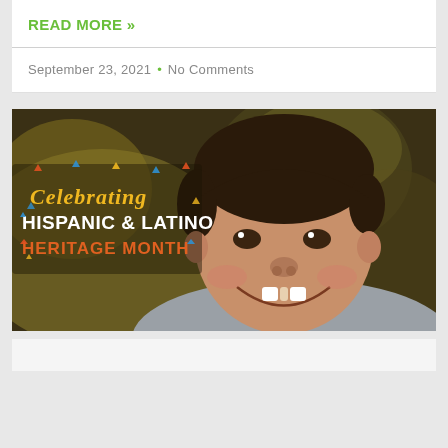READ MORE »
September 23, 2021 • No Comments
[Figure (photo): A smiling young boy with short dark hair wearing a grey hoodie. Overlaid text on the left reads 'Celebrating HISPANIC & LATINO HERITAGE MONTH' with colorful decorative elements on a blurred background.]